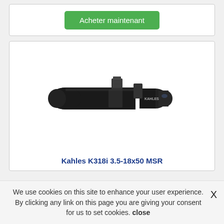Acheter maintenant
[Figure (photo): Kahles K318i 3.5-18x50 MSR rifle scope, black, with turret adjustments, viewed from the side on a white background.]
Kahles K318i 3.5-18x50 MSR
We use cookies on this site to enhance your user experience. By clicking any link on this page you are giving your consent for us to set cookies. close